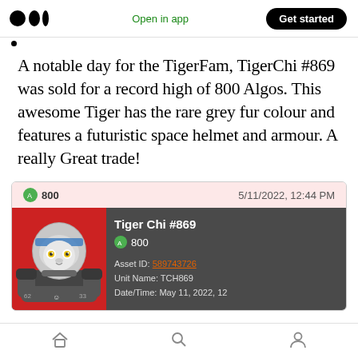Medium logo | Open in app | Get started
A notable day for the TigerFam, TigerChi #869 was sold for a record high of 800 Algos. This awesome Tiger has the rare grey fur colour and features a futuristic space helmet and armour. A really Great trade!
[Figure (screenshot): Screenshot of a transaction card showing Tiger Chi #869 sold for 800 Algos. Card shows date 5/11/2022, 12:44 PM, Asset ID 589743726, Unit Name TCH869, Date/Time May 11, 2022. Left side shows NFT image of a grey tiger with space helmet on red background.]
Bottom navigation bar with home, search, and profile icons